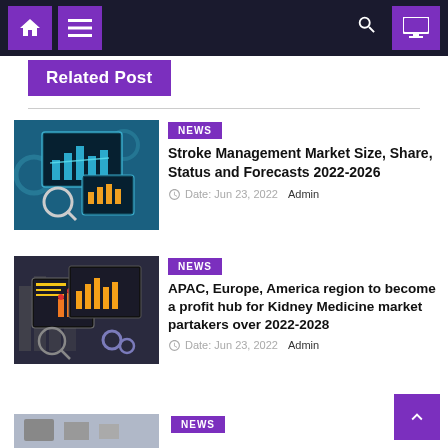Navigation bar with home icon, menu icon, search icon, and monitor icon
Related Post
[Figure (screenshot): Thumbnail image showing bar charts on computer and tablet screens with gears in the background, teal/blue color scheme]
NEWS
Stroke Management Market Size, Share, Status and Forecasts 2022-2026
Date: Jun 23, 2022   Admin
[Figure (screenshot): Thumbnail image showing bar charts with yellow/orange colors on computer and tablet screens with analytics graphics]
NEWS
APAC, Europe, America region to become a profit hub for Kidney Medicine market partakers over 2022-2028
Date: Jun 23, 2022   Admin
NEWS